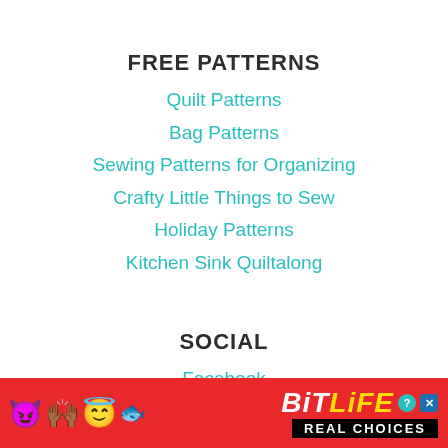FREE PATTERNS
Quilt Patterns
Bag Patterns
Sewing Patterns for Organizing
Crafty Little Things to Sew
Holiday Patterns
Kitchen Sink Quiltalong
SOCIAL
Facebook
[Figure (infographic): Red advertisement banner for BitLife game with emojis (devil, person with raised hands, angel face, sperm) and text 'BitLife REAL CHOICES' with question mark and X icons]